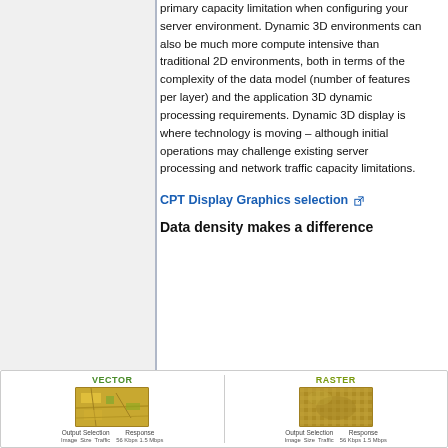primary capacity limitation when configuring your server environment. Dynamic 3D environments can also be much more compute intensive than traditional 2D environments, both in terms of the complexity of the data model (number of features per layer) and the application 3D dynamic processing requirements. Dynamic 3D display is where technology is moving – although initial operations may challenge existing server processing and network traffic capacity limitations.
CPT Display Graphics selection [external link]
Data density makes a difference
[Figure (illustration): Side-by-side comparison of VECTOR vs RASTER display showing map images with Output Selection and Response columns (Image, Size, Traffic) at 56 Kbps, 1.5 Mbps]